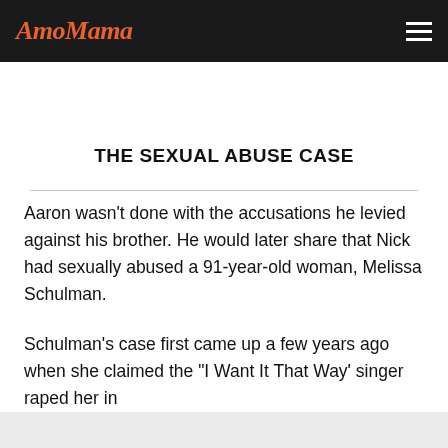AmoMama
THE SEXUAL ABUSE CASE
Aaron wasn't done with the accusations he levied against his brother. He would later share that Nick had sexually abused a 91-year-old woman, Melissa Schulman.
Schulman's case first came up a few years ago when she claimed the "I Want It That Way' singer raped her in